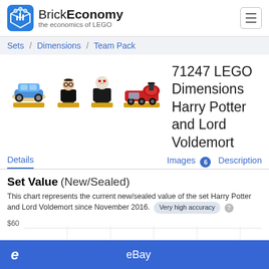BrickEconomy – the economics of LEGO
Sets / Dimensions / Team Pack
[Figure (illustration): Four LEGO Dimensions figures/vehicles on gold bases: a blue car, Harry Potter minifig, Voldemort minifig, and a red Hogwarts Express locomotive]
71247 LEGO Dimensions Harry Potter and Lord Voldemort
Details    Images 6    Description
Set Value (New/Sealed)
This chart represents the current new/sealed value of the set Harry Potter and Lord Voldemort since November 2016.  Very high accuracy
[Figure (continuous-plot): Line chart showing set value over time with y-axis starting at $60]
eBay